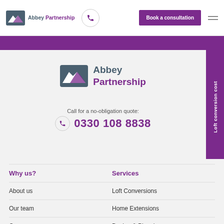[Figure (logo): Abbey Partnership logo in navbar with mountain/house icon, dark blue-grey and purple text]
Book a consultation
[Figure (logo): Abbey Partnership large logo centered on grey card]
Call for a no-obligation quote:
0330 108 8838
Loft conversion cost
Why us?
Services
About us
Loft Conversions
Our team
Home Extensions
Our process
Design & Planning